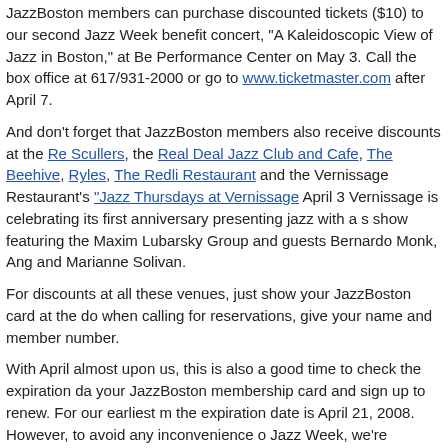JazzBoston members can purchase discounted tickets ($10) to our second Jazz Week benefit concert, "A Kaleidoscopic View of Jazz in Boston," at Be Performance Center on May 3. Call the box office at 617/931-2000 or go to www.ticketmaster.com after April 7.
And don't forget that JazzBoston members also receive discounts at the Re Scullers, the Real Deal Jazz Club and Cafe, The Beehive, Ryles, The Redli Restaurant and the Vernissage Restaurant's "Jazz Thursdays at Vernissage April 3 Vernissage is celebrating its first anniversary presenting jazz with a s show featuring the Maxim Lubarsky Group and guests Bernardo Monk, Ang and Marianne Solivan.
For discounts at all these venues, just show your JazzBoston card at the do when calling for reservations, give your name and member number.
With April almost upon us, this is also a good time to check the expiration da your JazzBoston membership card and sign up to renew. For our earliest m the expiration date is April 21, 2008. However, to avoid any inconvenience o Jazz Week, we're extending that date to May 5. Click here to renew now.
Write Us, Join Us, Please Pass This On...
Please tell us what you think of this e-newsletter and what kinds of informat like to see included in future issues. Email us at newsletter@jazzboston.org like to know more about JazzBoston and consider becoming a member.